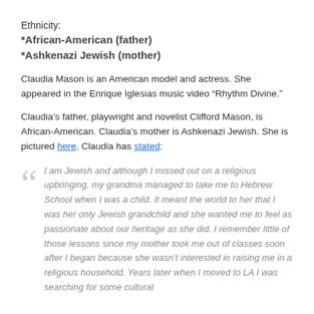Ethnicity:
*African-American (father)
*Ashkenazi Jewish (mother)
Claudia Mason is an American model and actress. She appeared in the Enrique Iglesias music video “Rhythm Divine.”
Claudia’s father, playwright and novelist Clifford Mason, is African-American. Claudia’s mother is Ashkenazi Jewish. She is pictured here. Claudia has stated:
I am Jewish and although I missed out on a religious upbringing, my grandma managed to take me to Hebrew School when I was a child. It meant the world to her that I was her only Jewish grandchild and she wanted me to feel as passionate about our heritage as she did. I remember little of those lessons since my mother took me out of classes soon after I began because she wasn’t interested in raising me in a religious household. Years later when I moved to LA I was searching for some cultural